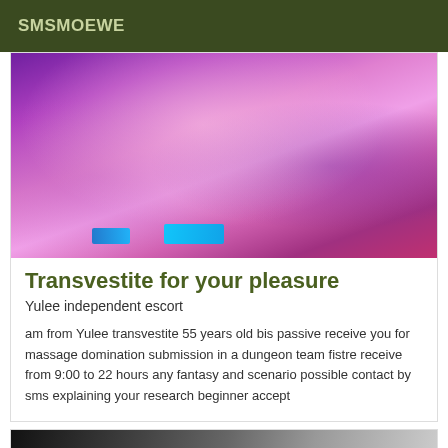SMSMOEWE
[Figure (photo): Photo of a transvestite in lingerie under purple/pink UV light in a dungeon-style setting]
Transvestite for your pleasure
Yulee independent escort
am from Yulee transvestite 55 years old bis passive receive you for massage domination submission in a dungeon team fistre receive from 9:00 to 22 hours any fantasy and scenario possible contact by sms explaining your research beginner accept
[Figure (photo): Partial photo with VIP badge overlay]